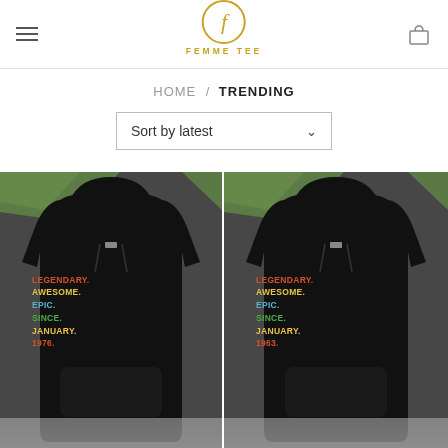[Figure (logo): Femme Tee logo with gold circle and F script]
HOME / TRENDING
Sort by latest
[Figure (photo): Black hoodie on gray background with pine branches, text: LEGENDARY. AWESOME. EPIC. SINCE. JANUARY. 1976.]
[Figure (photo): Black hoodie on gray background with pine branches, text: LEGENDARY. AWESOME. EPIC. SINCE. JANUARY. 1963.]